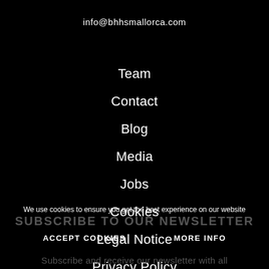info@bhhsmallorca.com
Team
Contact
Blog
Media
Jobs
Cookies
Legal Notice
Privacy Policy
We use cookies to ensure you get the best experience on our website
SUBSCRIBE TO OUR NEWSLETTER
ACCEPT COOKIES
MORE INFO
Subscribe and receive our newsletter with all